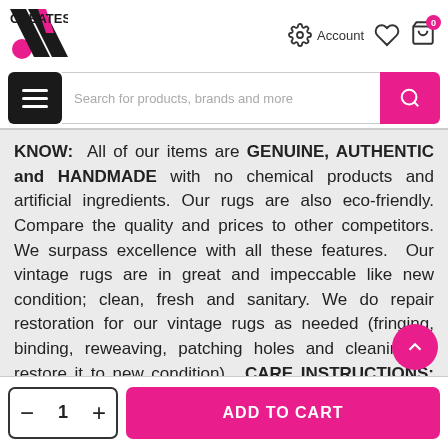[Figure (logo): X Creates logo with pink circle and black X shape, bold text CREATES]
[Figure (screenshot): Header icons: gear/Account, heart, shopping bag with 0 badge]
[Figure (screenshot): Search bar with hamburger menu button and pink search button]
KNOW:  All of our items are GENUINE, AUTHENTIC and HANDMADE with no chemical products and artificial ingredients. Our rugs are also eco-friendly. Compare the quality and prices to other competitors. We surpass excellence with all these features.  Our vintage rugs are in great and impeccable like new condition; clean, fresh and sanitary. We do repair restoration for our vintage rugs as needed (fringing, binding, reweaving, patching holes and cleaning to restore it to new condition).  CARE INSTRUCTIONS:
[Figure (screenshot): Add to cart bar with quantity control (minus, 1, plus) and pink ADD TO CART button, pink scroll-up arrow button]